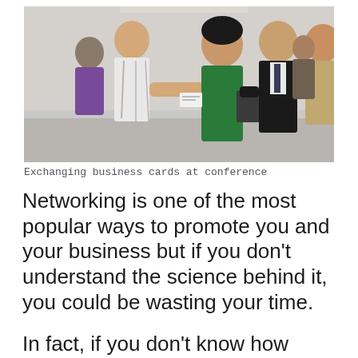[Figure (photo): People exchanging business cards at a professional networking conference event. Multiple people in business and smart casual attire, smiling and interacting.]
Exchanging business cards at conference
Networking is one of the most popular ways to promote you and your business but if you don’t understand the science behind it, you could be wasting your time.
In fact, if you don't know how the...